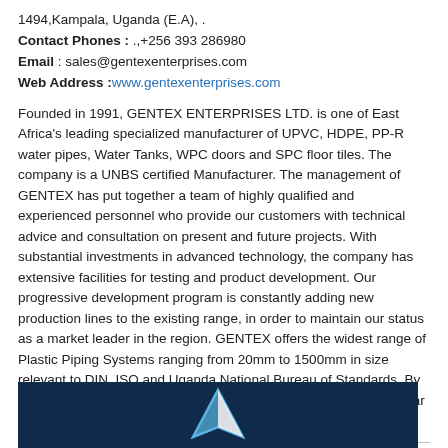1494,Kampala, Uganda (E.A), .
Contact Phones : .,+256 393 286980
Email : sales@gentexenterprises.com
Web Address :www.gentexenterprises.com
Founded in 1991, GENTEX ENTERPRISES LTD. is one of East Africa's leading specialized manufacturer of UPVC, HDPE, PP-R water pipes, Water Tanks, WPC doors and SPC floor tiles. The company is a UNBS certified Manufacturer. The management of GENTEX has put together a team of highly qualified and experienced personnel who provide our customers with technical advice and consultation on present and future projects. With substantial investments in advanced technology, the company has extensive facilities for testing and product development. Our progressive development program is constantly adding new production lines to the existing range, in order to maintain our status as a market leader in the region. GENTEX offers the widest range of Plastic Piping Systems ranging from 20mm to 1500mm in size relevant to DIN, ISO and Uganda National Bureau of Standards. By utilizing the latest manufacturing techniques and maintaining regular quality control, we ensure our customers get value for m
[Figure (logo): Dark navy blue background with a white/light blue triangular logo mark (arrow or sail shape) centered in the lower portion of the page]